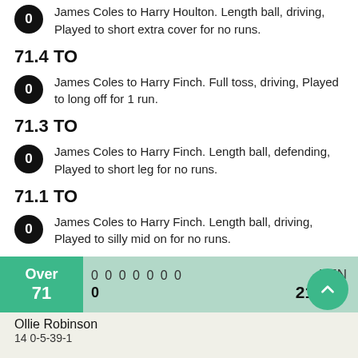James Coles to Harry Houlton. Length ball, driving, Played to short extra cover for no runs.
71.4 TO
James Coles to Harry Finch. Full toss, driving, Played to long off for 1 run.
71.3 TO
James Coles to Harry Finch. Length ball, defending, Played to short leg for no runs.
71.1 TO
James Coles to Harry Finch. Length ball, driving, Played to silly mid on for no runs.
| Over | Balls | Team | Score |
| --- | --- | --- | --- |
| 71 | 0000000 / 0 | KEN | 216/4 |
Ollie Robinson
14 0-5-39-1